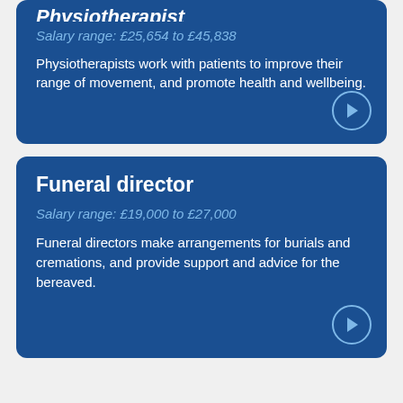Physiotherapist
Salary range: £25,654 to £45,838
Physiotherapists work with patients to improve their range of movement, and promote health and wellbeing.
Funeral director
Salary range: £19,000 to £27,000
Funeral directors make arrangements for burials and cremations, and provide support and advice for the bereaved.